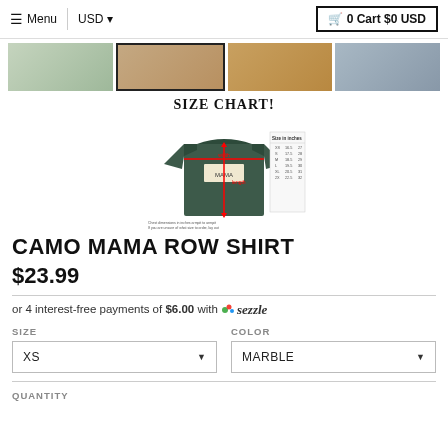Menu | USD | 0 Cart $0 USD
[Figure (photo): Four product thumbnail images of clothing items]
[Figure (infographic): Size chart showing t-shirt with measurement arrows and size table]
CAMO MAMA ROW SHIRT
$23.99
or 4 interest-free payments of $6.00 with Sezzle
SIZE: XS
COLOR: MARBLE
QUANTITY